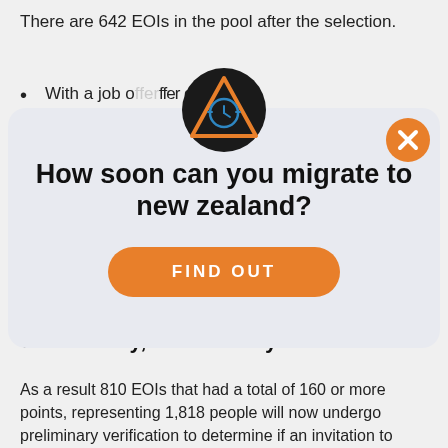There are 642 EOIs in the pool after the selection.
With a job offer: 643
[Figure (other): Advertising modal popup with logo (triangle with clock icon), close button (orange X), heading 'How soon can you migrate to new zealand?', and orange 'FIND OUT' button]
724
Wednesday, 19 February 2020
As a result 810 EOIs that had a total of 160 or more points, representing 1,818 people will now undergo preliminary verification to determine if an invitation to apply for...